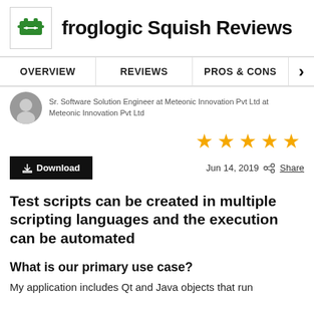froglogic Squish Reviews
OVERVIEW   REVIEWS   PROS & CONS
Sr. Software Solution Engineer at Meteonic Innovation Pvt Ltd at Meteonic Innovation Pvt Ltd
[Figure (other): 5 gold stars rating]
Download   Jun 14, 2019  Share
Test scripts can be created in multiple scripting languages and the execution can be automated
What is our primary use case?
My application includes Qt and Java objects that run